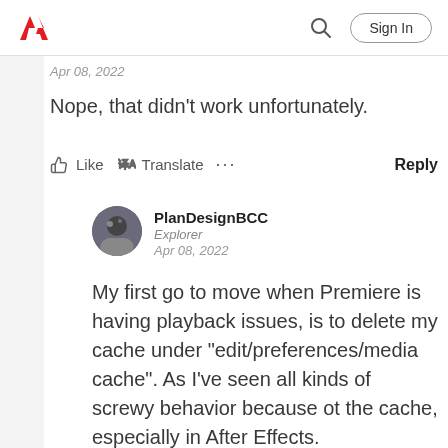Adobe community navigation bar with Adobe logo, search icon, Sign In button
Apr 08, 2022
Nope, that didn't work unfortunately.
Like   Translate   ...   Reply
PlanDesignBCC
Explorer
Apr 08, 2022
My first go to move when Premiere is having playback issues, is to delete my cache under "edit/preferences/media cache". As I've seen all kinds of screwy behavior because ot the cache, especially in After Effects.